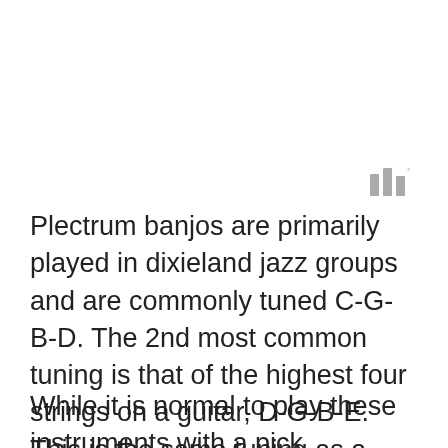[Figure (other): Small icon of three vertical bars of different heights with a superscript degree symbol, rendered in gray]
Plectrum banjos are primarily played in dixieland jazz groups and are commonly tuned C-G-B-D. The 2nd most common tuning is that of the highest four strings on a guitar, D-G-B-E. This is the same tuning as a baritone ukulele, and makes a perfect instrument for those players to switch to.
While it is normal to play these instruments with a pick, fingerpicking them lends itself to